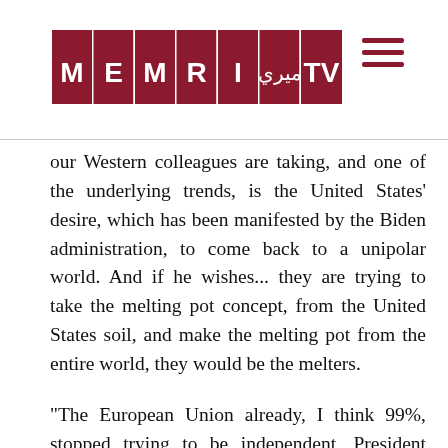MEMRI TV
our Western colleagues are taking, and one of the underlying trends, is the United States' desire, which has been manifested by the Biden administration, to come back to a unipolar world. And if he wishes... they are trying to take the melting pot concept, from the United States soil, and make the melting pot from the entire world, they would be the melters.
"The European Union already, I think 99%, stopped trying to be independent, President Macron, of course, keeps repeating that strategic autonomy for the European Union is his goal, and he would be fighting for it. But my guess is that he will not succeed. Germany is already absolutely ready to be under the United States' orders and